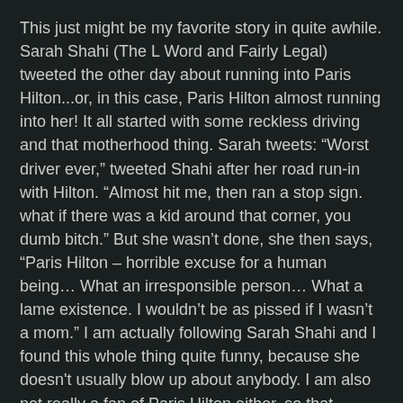This just might be my favorite story in quite awhile. Sarah Shahi (The L Word and Fairly Legal) tweeted the other day about running into Paris Hilton...or, in this case, Paris Hilton almost running into her! It all started with some reckless driving and that motherhood thing. Sarah tweets: “Worst driver ever,” tweeted Shahi after her road run-in with Hilton. “Almost hit me, then ran a stop sign. what if there was a kid around that corner, you dumb bitch.” But she wasn’t done, she then says, “Paris Hilton – horrible excuse for a human being… What an irresponsible person… What a lame existence. I wouldn’t be as pissed if I wasn’t a mom.” I am actually following Sarah Shahi and I found this whole thing quite funny, because she doesn't usually blow up about anybody. I am also not really a fan of Paris Hilton either, so that probably helped.
UPDATE: Paris finally replied!